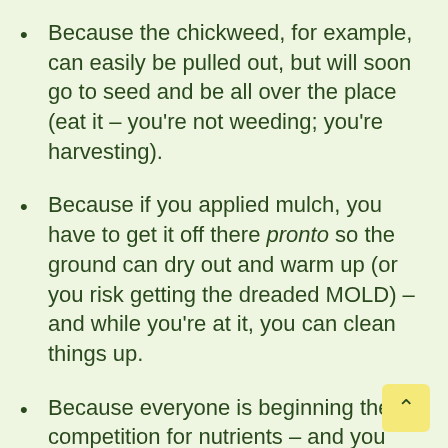Because the chickweed, for example, can easily be pulled out, but will soon go to seed and be all over the place (eat it – you're not weeding; you're harvesting).
Because if you applied mulch, you have to get it off there pronto so the ground can dry out and warm up (or you risk getting the dreaded MOLD) – and while you're at it, you can clean things up.
Because everyone is beginning the competition for nutrients – and you need to help your garlic by elimina (or at least reducing) the competition. They can't do it on their own. Indeed